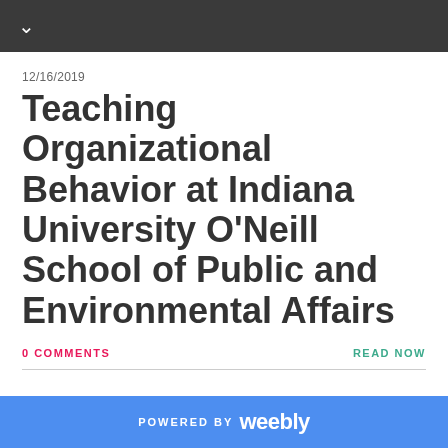12/16/2019
Teaching Organizational Behavior at Indiana University O'Neill School of Public and Environmental Affairs
0 COMMENTS
READ NOW
DETAILS +
POWERED BY weebly